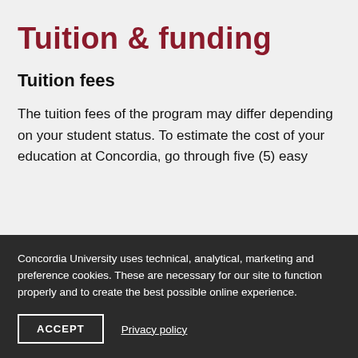Tuition & funding
Tuition fees
The tuition fees of the program may differ depending on your student status. To estimate the cost of your education at Concordia, go through five (5) easy
Concordia University uses technical, analytical, marketing and preference cookies. These are necessary for our site to function properly and to create the best possible online experience.
ACCEPT
Privacy policy